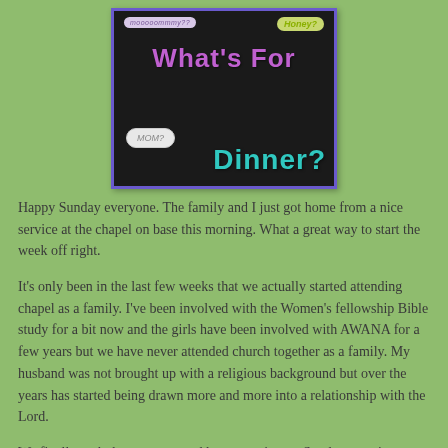[Figure (illustration): A decorative image with dark/chalkboard background and blue border. Speech bubbles say 'mooooommmy??' and 'Honey?'. Large text reads 'What's For Dinner?' in purple and teal chalk-style lettering. A speech bubble says 'MOM?'.]
Happy Sunday everyone.  The family and I just got home from a nice service at the chapel on base this morning.  What a great way to start the week off right.
It's only been in the last few weeks that we actually started attending chapel as a family. I've been involved with the Women's fellowship Bible study for a bit now and the girls have been involved with AWANA for a few years but we have never attended church together as a family.  My husband was not brought up with a religious background but over the years has started being drawn more and more into a relationship with the Lord.
We finally took the next step and began getting up Sunday mornings to attend the service on base.  Charles and I will also be